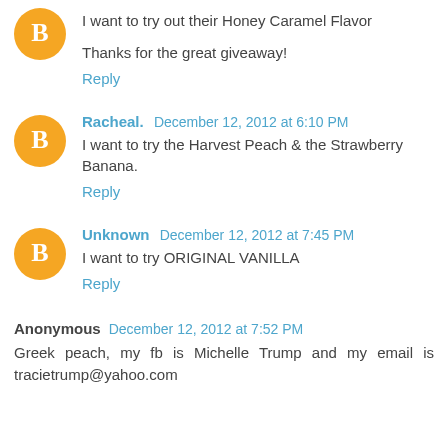I want to try out their Honey Caramel Flavor
Thanks for the great giveaway!
Reply
Racheal.  December 12, 2012 at 6:10 PM
I want to try the Harvest Peach & the Strawberry Banana.
Reply
Unknown  December 12, 2012 at 7:45 PM
I want to try ORIGINAL VANILLA
Reply
Anonymous  December 12, 2012 at 7:52 PM
Greek peach, my fb is Michelle Trump and my email is tracietrump@yahoo.com